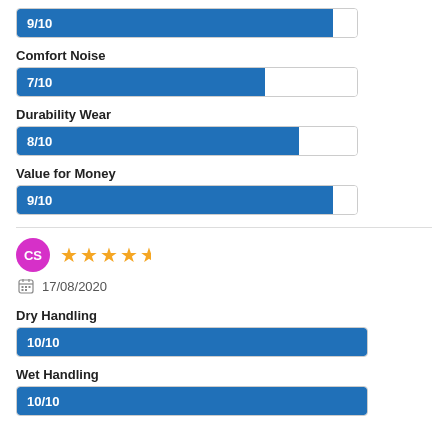[Figure (bar-chart): Score bar (top)]
Comfort Noise
[Figure (bar-chart): Comfort Noise]
Durability Wear
[Figure (bar-chart): Durability Wear]
Value for Money
[Figure (bar-chart): Value for Money]
CS — 4.5 stars — 17/08/2020
Dry Handling
[Figure (bar-chart): Dry Handling]
Wet Handling
[Figure (bar-chart): Wet Handling]